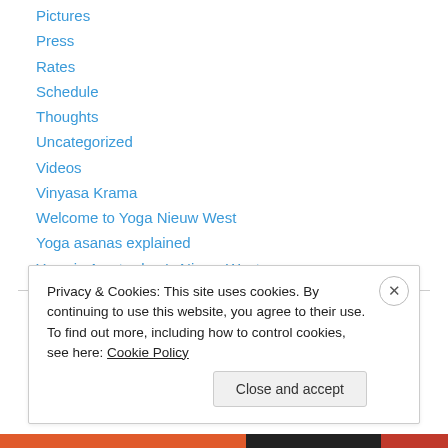Pictures
Press
Rates
Schedule
Thoughts
Uncategorized
Videos
Vinyasa Krama
Welcome to Yoga Nieuw West
Yoga asanas explained
Yoga in Amsterdam's Nieuw West
Privacy & Cookies: This site uses cookies. By continuing to use this website, you agree to their use.
To find out more, including how to control cookies, see here: Cookie Policy
Close and accept